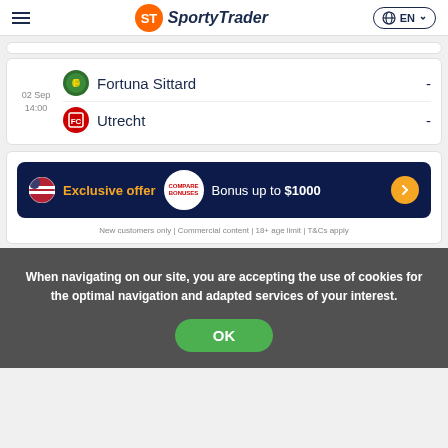SportyTrader EN
| Date/Time | Team | Score |
| --- | --- | --- |
| 02 Sep 14:00 | Fortuna Sittard | - |
| 02 Sep 14:00 | Utrecht | - |
[Figure (infographic): Promotional banner: Exclusive offer - Compare Bonuses - Bonus up to $1000]
New customers only | Commercial content | 18+ age limit | T&Cs apply
When navigating on our site, you are accepting the use of cookies for the optimal navigation and adapted services of your interest.
OK